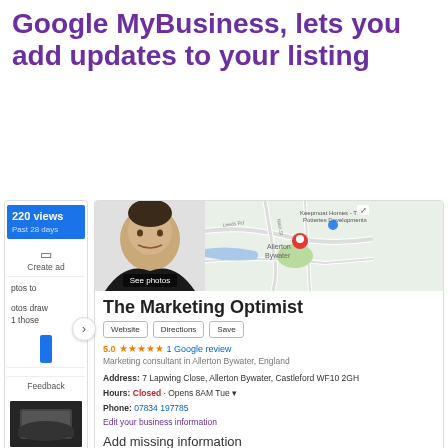Google MyBusiness, lets you add updates to your listing
[Figure (screenshot): Screenshot of Google My Business listing for The Marketing Optimist, showing profile photo, map, business name, action buttons (Website, Directions, Save), 5-star rating with 1 Google review, address, hours, phone number, edit link, add missing information section, and a social media training course post card with add a post button.]